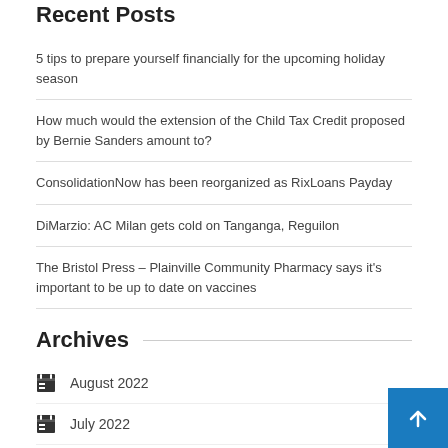Recent Posts
5 tips to prepare yourself financially for the upcoming holiday season
How much would the extension of the Child Tax Credit proposed by Bernie Sanders amount to?
ConsolidationNow has been reorganized as RixLoans Payday
DiMarzio: AC Milan gets cold on Tanganga, Reguilon
The Bristol Press – Plainville Community Pharmacy says it's important to be up to date on vaccines
Archives
August 2022
July 2022
June 2022